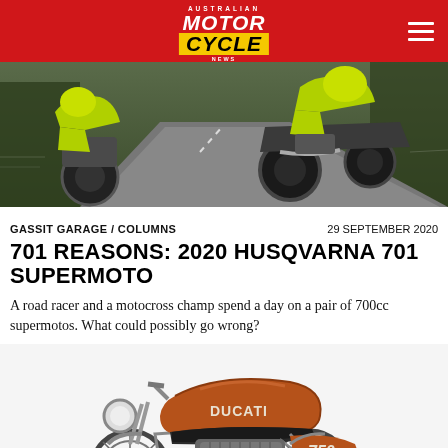AUSTRALIAN MOTORCYCLE NEWS
[Figure (photo): Two Husqvarna 701 Supermoto motorcycles on a road, riders wearing bright yellow-green gear, motion blur in background]
GASSIT GARAGE / COLUMNS    29 SEPTEMBER 2020
701 REASONS: 2020 HUSQVARNA 701 SUPERMOTO
A road racer and a motocross champ spend a day on a pair of 700cc supermotos. What could possibly go wrong?
[Figure (photo): Classic Ducati 750 motorcycle in brown/orange color on white background]